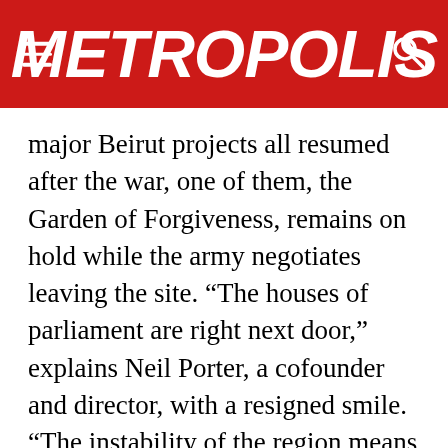METROPOLIS
major Beirut projects all resumed after the war, one of them, the Garden of Forgiveness, remains on hold while the army negotiates leaving the site. “The houses of parliament are right next door,” explains Neil Porter, a cofounder and director, with a resigned smile. “The instability of the region means the politicians can’t give up their protection.”
The Shoreline Walk, a series of public landscapes and squares, is Gustafson